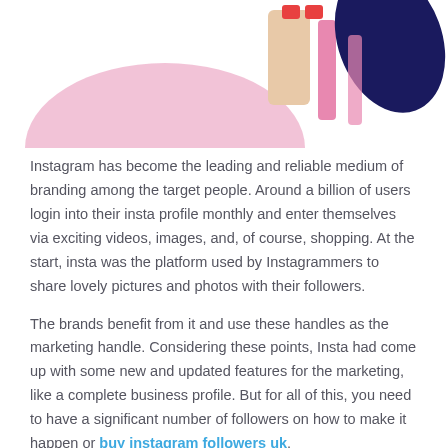[Figure (illustration): Decorative illustration showing abstract figures of people with pink, peach, dark navy and red shapes, partially cropped at top of page]
Instagram has become the leading and reliable medium of branding among the target people. Around a billion of users login into their insta profile monthly and enter themselves via exciting videos, images, and, of course, shopping. At the start, insta was the platform used by Instagrammers to share lovely pictures and photos with their followers.
The brands benefit from it and use these handles as the marketing handle. Considering these points, Insta had come up with some new and updated features for the marketing, like a complete business profile. But for all of this, you need to have a significant number of followers on how to make it happen or buy instagram followers uk.